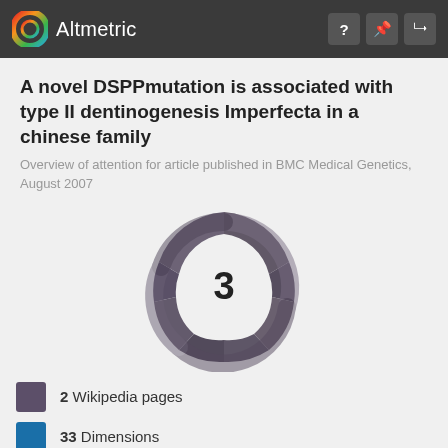Altmetric
A novel DSPPmutation is associated with type II dentinogenesis Imperfecta in a chinese family
Overview of attention for article published in BMC Medical Genetics, August 2007
[Figure (other): Altmetric donut score badge showing score of 3, rendered as a swirling dark purple/grey donut shape with the number 3 in the center white circle]
2 Wikipedia pages
33 Dimensions